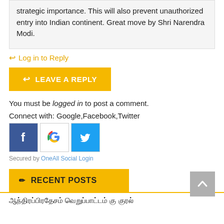strategic importance. This will also prevent unauthorized entry into Indian continent. Great move by Shri Narendra Modi.
Log in to Reply
LEAVE A REPLY
You must be logged in to post a comment.
Connect with: Google,Facebook,Twitter
[Figure (logo): Facebook, Google, and Twitter social login icons]
Secured by OneAll Social Login
RECENT POSTS
ஆந்திரப்பிரதேசம் வெறுப்பாட்டம் கு குரல்